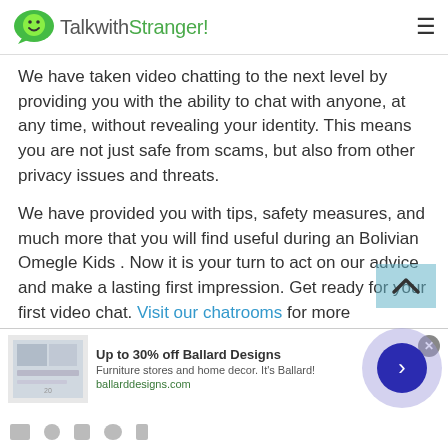TalkwithStranger!
We have taken video chatting to the next level by providing you with the ability to chat with anyone, at any time, without revealing your identity. This means you are not just safe from scams, but also from other privacy issues and threats.
We have provided you with tips, safety measures, and much more that you will find useful during an Bolivian Omegle Kids . Now it is your turn to act on our advice and make a lasting first impression. Get ready for your first video chat. Visit our chatrooms for more information and get started now!
[Figure (screenshot): Advertisement banner for Ballard Designs with thumbnail image, title 'Up to 30% off Ballard Designs', subtitle 'Furniture stores and home decor. It's Ballard!', and link 'ballarddesigns.com']